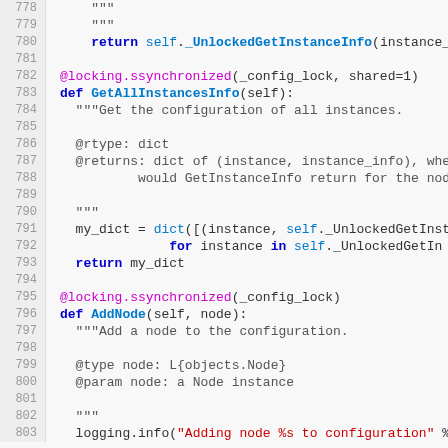[Figure (screenshot): Python source code editor view showing lines 778-803, including methods GetAllInstancesInfo and AddNode with decorators, docstrings, and code]
778-803: Python code snippet with GetAllInstancesInfo and AddNode methods